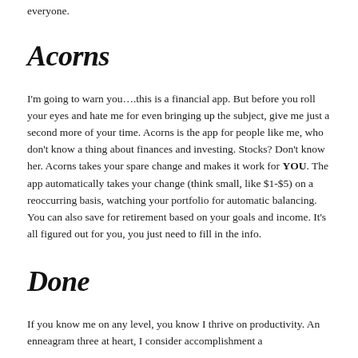everyone.
Acorns
I'm going to warn you….this is a financial app. But before you roll your eyes and hate me for even bringing up the subject, give me just a second more of your time. Acorns is the app for people like me, who don't know a thing about finances and investing. Stocks? Don't know her. Acorns takes your spare change and makes it work for YOU. The app automatically takes your change (think small, like $1-$5) on a reoccurring basis, watching your portfolio for automatic balancing. You can also save for retirement based on your goals and income. It's all figured out for you, you just need to fill in the info.
Done
If you know me on any level, you know I thrive on productivity. An enneagram three at heart, I consider accomplishment a